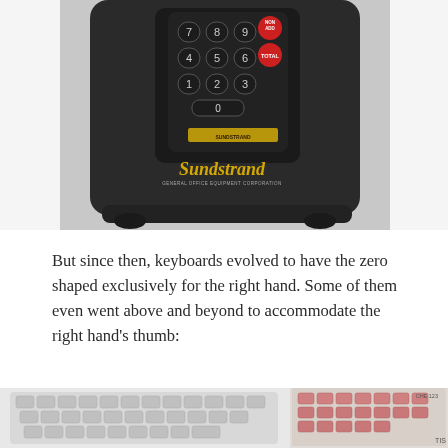[Figure (photo): Photograph of a Sundstrand adding machine (General Office Equipment Corporation), showing numeric keypad with buttons arranged in rows (7,8,9 / 4,5,6 / 1,2,3 / 0), two red buttons labeled NON-ADD and TOTAL, and a metal plate. The machine has a textured dark body with the Sundstrand logo and 'GENERAL OFFICE EQUIPMENT CORPORATION' text on the front.]
But since then, keyboards evolved to have the zero shaped exclusively for the right hand. Some of them even went above and beyond to accommodate the right hand’s thumb:
[Figure (photo): Bottom-left: photograph of a keyboard with gray keycaps arranged in staggered rows, showing a numeric keypad layout and function keys. Bottom-right: photograph of another keyboard device with beige/cream colored body and pink/salmon colored keys with labels.]